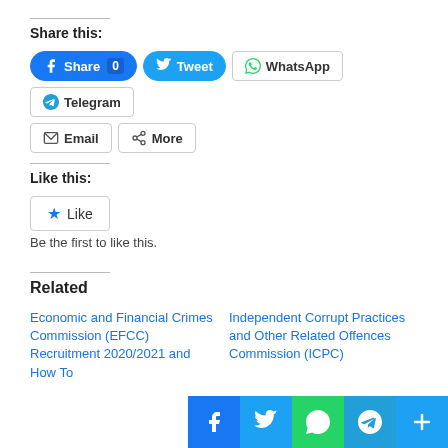Share this:
[Figure (screenshot): Social share buttons: Facebook Share 0, Tweet, WhatsApp, Telegram, Email, More]
Like this:
[Figure (screenshot): Like button with star icon]
Be the first to like this.
Related
Economic and Financial Crimes Commission (EFCC) Recruitment 2020/2021 and How To
Independent Corrupt Practices and Other Related Offences Commission (ICPC)
[Figure (screenshot): Social sharing floating bar at bottom: Facebook, Twitter, WhatsApp, Telegram, Plus buttons]